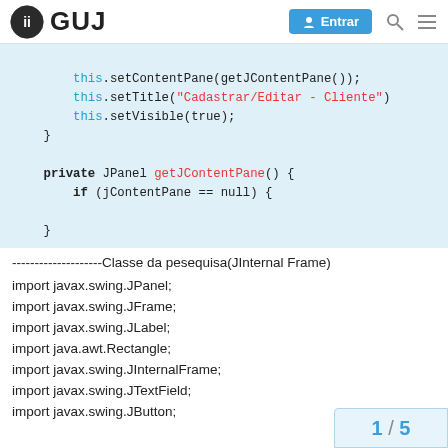GUJ — Entrar
[Figure (screenshot): Code snippet showing Java constructor with setContentPane, setTitle, setVisible calls]
--------------------Classe da pesequisa(JInternal Frame)
import javax.swing.JPanel;
import javax.swing.JFrame;
import javax.swing.JLabel;
import java.awt.Rectangle;
import javax.swing.JInternalFrame;
import javax.swing.JTextField;
import javax.swing.JButton;
1 / 5